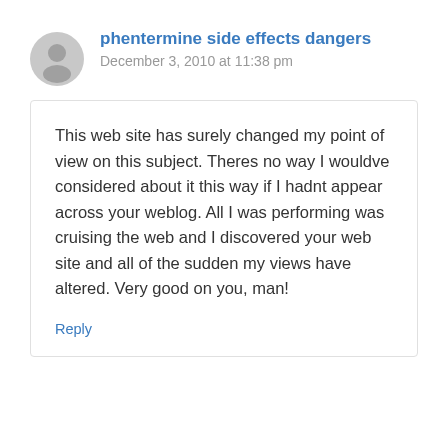phentermine side effects dangers
December 3, 2010 at 11:38 pm
This web site has surely changed my point of view on this subject. Theres no way I wouldve considered about it this way if I hadnt appear across your weblog. All I was performing was cruising the web and I discovered your web site and all of the sudden my views have altered. Very good on you, man!
Reply